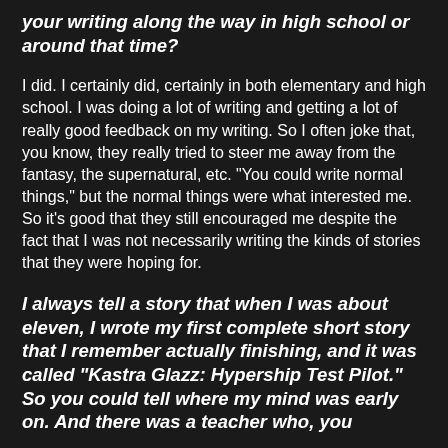Did you have any teachers that encouraged your writing along the way in high school or around that time?
I did. I certainly did, certainly in both elementary and high school. I was doing a lot of writing and getting a lot of really good feedback on my writing. So I often joke that, you know, they really tried to steer me away from the fantasy, the supernatural, etc. "You could write normal things," but the normal things were what interested me. So it's good that they still encouraged me despite the fact that I was not necessarily writing the kinds of stories that they were hoping for.
I always tell a story that when I was about eleven, I wrote my first complete short story that I remember actually finishing, and it was called “Kastra Glazz: Hypership Test Pilot.” So you could tell where my mind was early on. And there was a teacher who, you